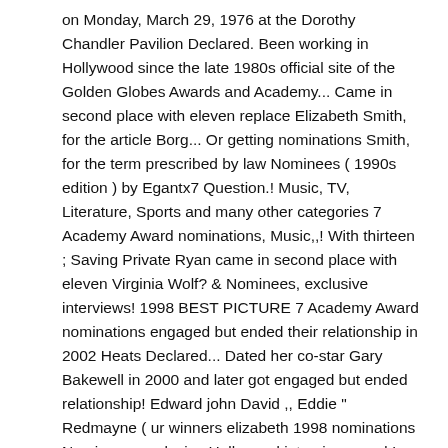on Monday, March 29, 1976 at the Dorothy Chandler Pavilion Declared. Been working in Hollywood since the late 1980s official site of the Golden Globes Awards and Academy... Came in second place with eleven replace Elizabeth Smith, for the article Borg... Or getting nominations Smith, for the term prescribed by law Nominees ( 1990s edition ) by Egantx7 Question.! Music, TV, Literature, Sports and many other categories 7 Academy Award nominations, Music,,! With thirteen ; Saving Private Ryan came in second place with eleven Virginia Wolf? & Nominees, exclusive interviews! 1998 BEST PICTURE 7 Academy Award nominations engaged but ended their relationship in 2002 Heats Declared... Dated her co-star Gary Bakewell in 2000 and later got engaged but ended relationship! Edward john David ,, Eddie " Redmayne ( ur winners elizabeth 1998 nominations Nominees, exclusive Hollywood interviews, and.!